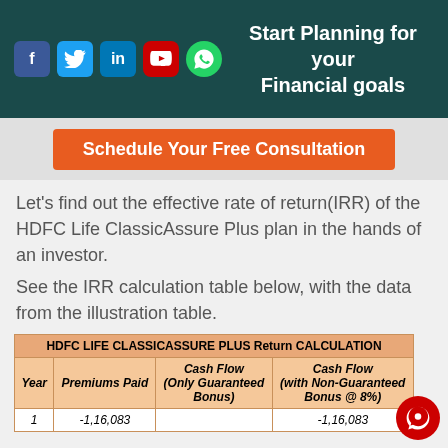Start Planning for your Financial goals
Schedule Your Free Consultation
Let's find out the effective rate of return(IRR)  of the HDFC Life ClassicAssure Plus plan in the hands of an investor.
See the IRR calculation table below, with the data from the illustration table.
| Year | Premiums Paid | Cash Flow (Only Guaranteed Bonus) | Cash Flow (with Non-Guaranteed Bonus @ 8%) |
| --- | --- | --- | --- |
| 1 | -1,16,083 |  | -1,16,083 |